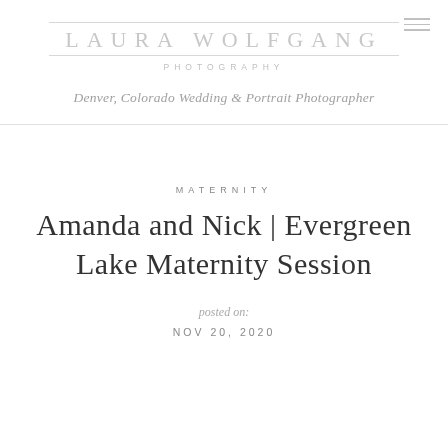LAURA WOLFGANG PHOTOGRAPHY
Denver, Colorado Wedding & Portrait Photographer
MATERNITY
Amanda and Nick | Evergreen Lake Maternity Session
posted on:
NOV 20, 2020